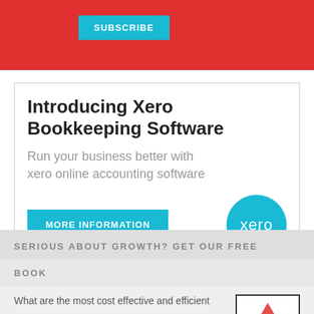[Figure (other): Red banner with subscribe button at top of page]
[Figure (infographic): Advertisement box for Xero Bookkeeping Software with title, subtitle, More Information button, and Xero logo circle]
Introducing Xero Bookkeeping Software
Run your business better with xero online accounting software
MORE INFORMATION
SERIOUS ABOUT GROWTH? GET OUR FREE
BOOK
What are the most cost effective and efficient